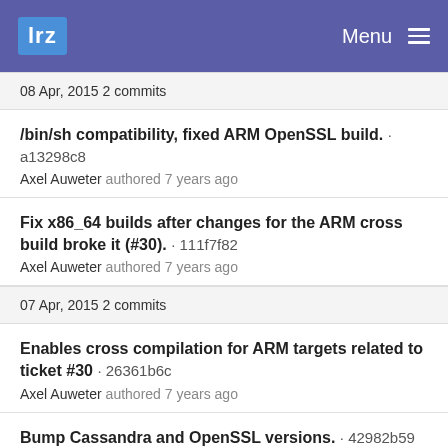lrz  Menu
08 Apr, 2015  2 commits
/bin/sh compatibility, fixed ARM OpenSSL build. · a13298c8
Axel Auweter authored 7 years ago
Fix x86_64 builds after changes for the ARM cross build broke it (#30). · 111f7f82
Axel Auweter authored 7 years ago
07 Apr, 2015  2 commits
Enables cross compilation for ARM targets related to ticket #30 · 26361b6c
Axel Auweter authored 7 years ago
Bump Cassandra and OpenSSL versions. · 42982b59
Axel Auweter authored 7 years ago
24 Mar, 2015  2 commits